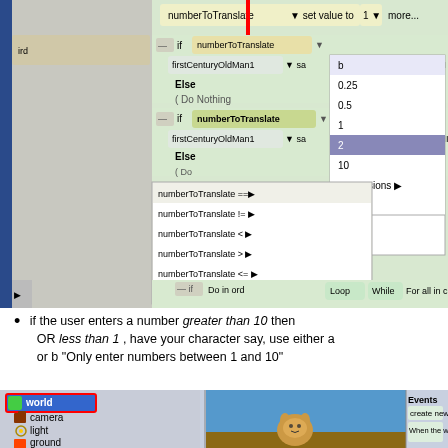[Figure (screenshot): Alice programming environment screenshot showing a dropdown menu with numberToTranslate comparisons and a right-click context menu with values like b, 0.25, 0.5, 1, 2 (highlighted), 10, expressions, other..., and comparison operators. Red arrow pointing downward.]
if the user enters a number greater than 10 then OR less than 1 , have your character say, use either a or b “Only enter numbers between 1 and 10”
[Figure (screenshot): Alice programming environment bottom panel showing world object tree with world (highlighted in red box), camera, light, ground, and a 3D scene with a cartoon cat character. Events panel visible with 'create new' button and 'When the world sta...' text.]